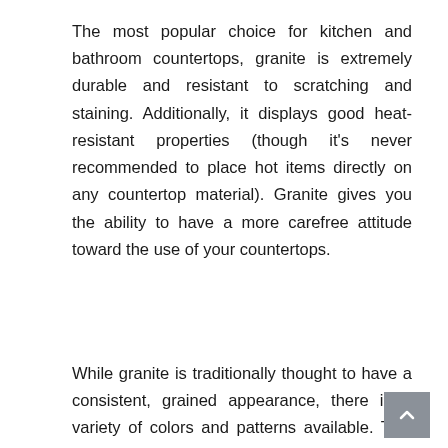The most popular choice for kitchen and bathroom countertops, granite is extremely durable and resistant to scratching and staining. Additionally, it displays good heat-resistant properties (though it's never recommended to place hot items directly on any countertop material). Granite gives you the ability to have a more carefree attitude toward the use of your countertops.
While granite is traditionally thought to have a consistent, grained appearance, there is a variety of colors and patterns available. This gives you the opportunity